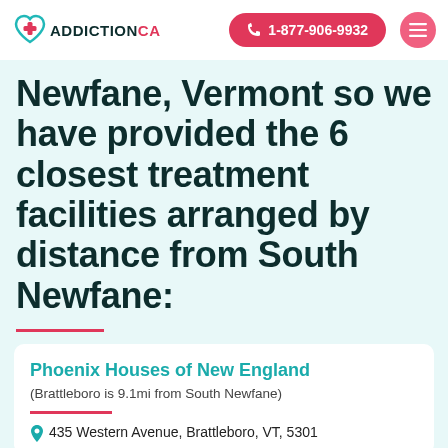ADDICTIONCA | 1-877-906-9932
Newfane, Vermont so we have provided the 6 closest treatment facilities arranged by distance from South Newfane:
Phoenix Houses of New England
(Brattleboro is 9.1mi from South Newfane)
435 Western Avenue, Brattleboro, VT, 5301